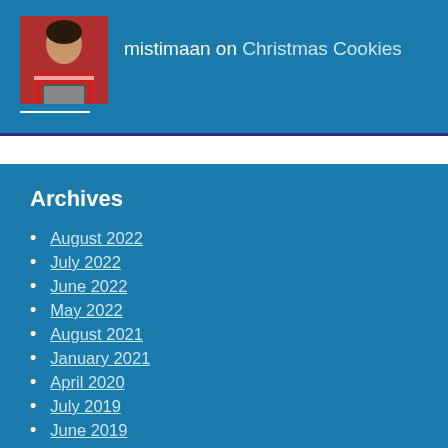mistimaan on Christmas Cookies
Archives
August 2022
July 2022
June 2022
May 2022
August 2021
January 2021
April 2020
July 2019
June 2019